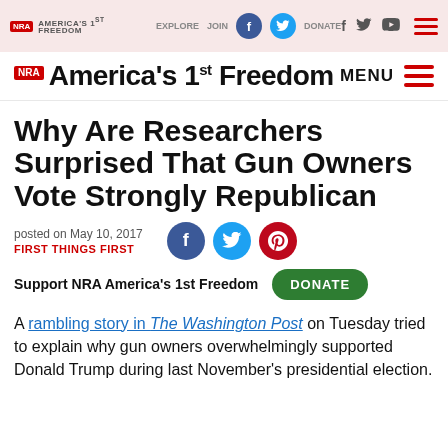NRA America's 1st Freedom — EXPLORE / JOIN / DONATE navigation bar
NRA America's 1st Freedom — MENU
Why Are Researchers Surprised That Gun Owners Vote Strongly Republican
posted on May 10, 2017
FIRST THINGS FIRST
Support NRA America's 1st Freedom
A rambling story in The Washington Post on Tuesday tried to explain why gun owners overwhelmingly supported Donald Trump during last November's presidential election.